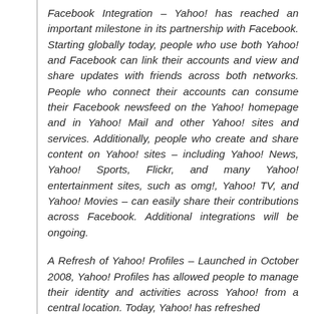Facebook Integration – Yahoo! has reached an important milestone in its partnership with Facebook. Starting globally today, people who use both Yahoo! and Facebook can link their accounts and view and share updates with friends across both networks. People who connect their accounts can consume their Facebook newsfeed on the Yahoo! homepage and in Yahoo! Mail and other Yahoo! sites and services. Additionally, people who create and share content on Yahoo! sites – including Yahoo! News, Yahoo! Sports, Flickr, and many Yahoo! entertainment sites, such as omg!, Yahoo! TV, and Yahoo! Movies – can easily share their contributions across Facebook. Additional integrations will be ongoing.
A Refresh of Yahoo! Profiles – Launched in October 2008, Yahoo! Profiles has allowed people to manage their identity and activities across Yahoo! from a central location. Today, Yahoo! has refreshed